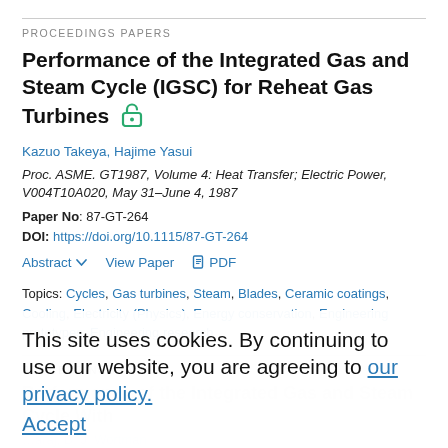PROCEEDINGS PAPERS
Performance of the Integrated Gas and Steam Cycle (IGSC) for Reheat Gas Turbines
Kazuo Takeya, Hajime Yasui
Proc. ASME. GT1987, Volume 4: Heat Transfer; Electric Power, V004T10A020, May 31–June 4, 1987
Paper No: 87-GT-264
DOI: https://doi.org/10.1115/87-GT-264
Abstract  View Paper  PDF
Topics: Cycles, Gas turbines, Steam, Blades, Ceramic coatings, Cooling, Electricity (Physics), Energy conservation, Engineering prototypes, Engineering research
PROCEEDINGS PAPERS
This site uses cookies. By continuing to use our website, you are agreeing to our privacy policy. Accept